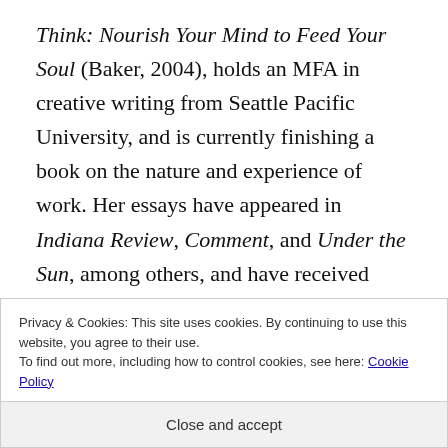Think: Nourish Your Mind to Feed Your Soul (Baker, 2004), holds an MFA in creative writing from Seattle Pacific University, and is currently finishing a book on the nature and experience of work. Her essays have appeared in Indiana Review, Comment, and Under the Sun, among others, and have received multiple “notable” mentions in Best American Essays and Best Spiritual
Privacy & Cookies: This site uses cookies. By continuing to use this website, you agree to their use.
To find out more, including how to control cookies, see here: Cookie Policy
Close and accept